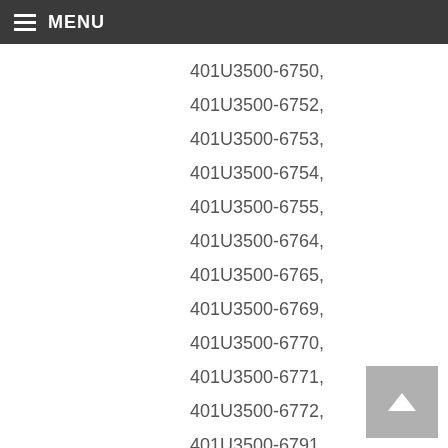MENU
401U3500-6750,
401U3500-6752,
401U3500-6753,
401U3500-6754,
401U3500-6755,
401U3500-6764,
401U3500-6765,
401U3500-6769,
401U3500-6770,
401U3500-6771,
401U3500-6772,
401U3500-6791,
401U3500-6793,
401U3501-523,